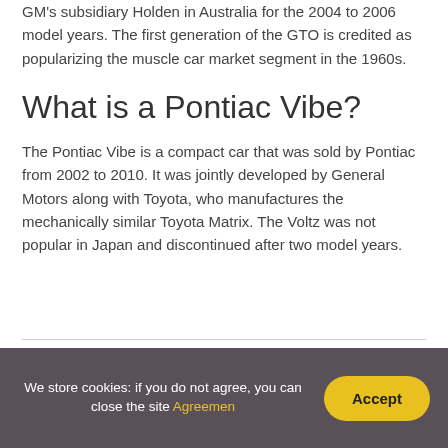GM's subsidiary Holden in Australia for the 2004 to 2006 model years. The first generation of the GTO is credited as popularizing the muscle car market segment in the 1960s.
What is a Pontiac Vibe?
The Pontiac Vibe is a compact car that was sold by Pontiac from 2002 to 2010. It was jointly developed by General Motors along with Toyota, who manufactures the mechanically similar Toyota Matrix. The Voltz was not popular in Japan and discontinued after two model years.
We store cookies: if you do not agree, you can close the site Agreemen